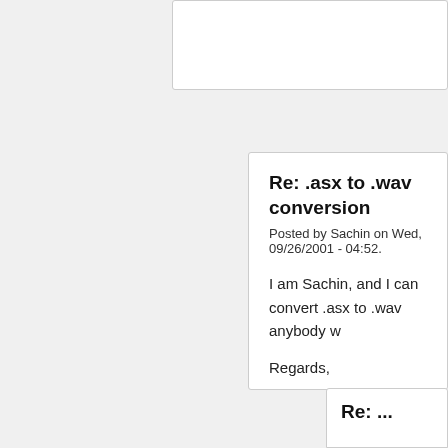Re: .asx to .wav conversion
Posted by Sachin on Wed, 09/26/2001 - 04:52.
I am Sachin, and I can convert .asx to .wav anybody w
Regards,

Sachin
: : I am a squirrel.
: : Go to street.
: : NOW!
: IF THERE IS ANYBODY OUT THERE THAT CAN C MONEY IN IT!!